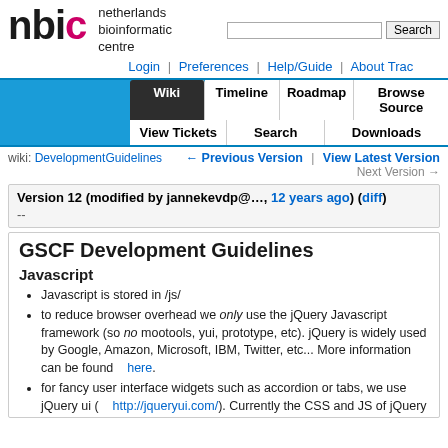nbic netherlands bioinformatic centre | Login | Preferences | Help/Guide | About Trac
[Figure (logo): NBIC logo with stylized colored letters 'nbic' and decorative background]
netherlands bioinformatic centre
Login | Preferences | Help/Guide | About Trac
Wiki | Timeline | Roadmap | Browse Source | View Tickets | Search | Downloads
wiki: DevelopmentGuidelines ← Previous Version | View Latest Version Next Version →
Version 12 (modified by jannekevdp@…, 12 years ago) (diff)
--
GSCF Development Guidelines
Javascript
Javascript is stored in /js/
to reduce browser overhead we only use the jQuery Javascript framework (so no mootools, yui, prototype, etc). jQuery is widely used by Google, Amazon, Microsoft, IBM, Twitter, etc... More information can be found here.
for fancy user interface widgets such as accordion or tabs, we use jQuery ui ( http://jqueryui.com/). Currently the CSS and JS of jQuery UI 1.7.2 (theme Pepper Grinder) are put into the /js/ and /css/jquery-ui/ folders. To use for example the accordion